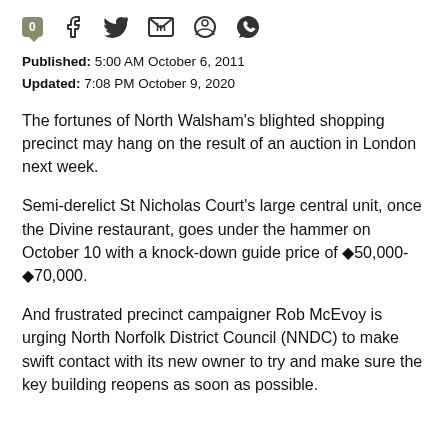[Figure (other): Social media sharing bar with comment count badge (0), Facebook, Twitter, LinkedIn, Reddit, and WhatsApp icons]
Published: 5:00 AM October 6, 2011
Updated: 7:08 PM October 9, 2020
The fortunes of North Walsham's blighted shopping precinct may hang on the result of an auction in London next week.
Semi-derelict St Nicholas Court's large central unit, once the Divine restaurant, goes under the hammer on October 10 with a knock-down guide price of ◆50,000-◆70,000.
And frustrated precinct campaigner Rob McEvoy is urging North Norfolk District Council (NNDC) to make swift contact with its new owner to try and make sure the key building reopens as soon as possible.